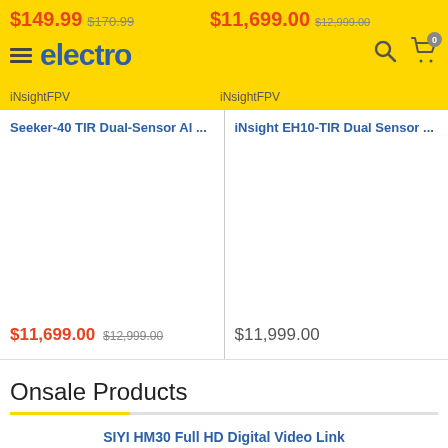electro — navigation header with logo, search, cart icon
$149.99  $170.99
$11,699.00  $12,999.00
iNsightFPV
iNsightFPV
Seeker-40 TIR Dual-Sensor Al ...
iNsight EH10-TIR Dual Sensor ...
$11,699.00  $12,999.00
$11,999.00
Onsale Products
SIYI HM30 Full HD Digital Video Link